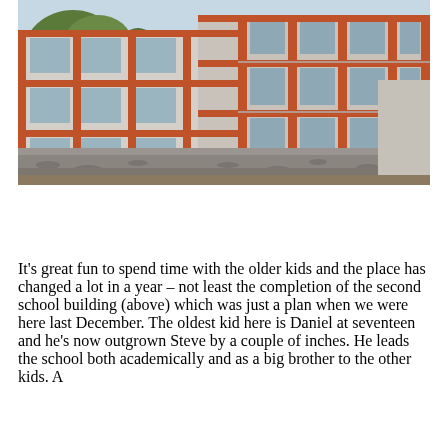[Figure (photo): Exterior photo of a multi-storey school building with red/orange structural frame and grey concrete block walls, set against a gravel courtyard. Lush trees visible in the background. Construction debris and dirt in the foreground.]
It's great fun to spend time with the older kids and the place has changed a lot in a year – not least the completion of the second school building (above) which was just a plan when we were here last December. The oldest kid here is Daniel at seventeen and he's now outgrown Steve by a couple of inches. He leads the school both academically and as a big brother to the other kids. A